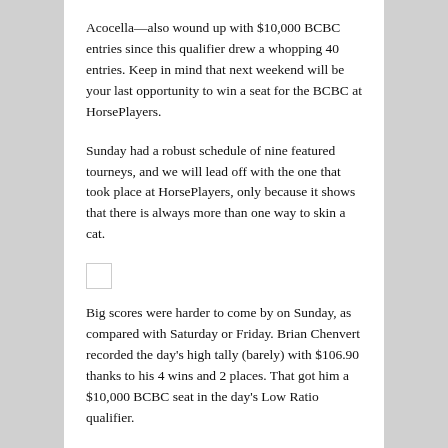Acocella—also wound up with $10,000 BCBC entries since this qualifier drew a whopping 40 entries. Keep in mind that next weekend will be your last opportunity to win a seat for the BCBC at HorsePlayers.
Sunday had a robust schedule of nine featured tourneys, and we will lead off with the one that took place at HorsePlayers, only because it shows that there is always more than one way to skin a cat.
[Figure (other): Small empty placeholder box/image area]
Big scores were harder to come by on Sunday, as compared with Saturday or Friday. Brian Chenvert recorded the day's high tally (barely) with $106.90 thanks to his 4 wins and 2 places. That got him a $10,000 BCBC seat in the day's Low Ratio qualifier.
Getting the second available seat was Eric Pineiro with $95.60 which, of course, is an admirable feat in itself…